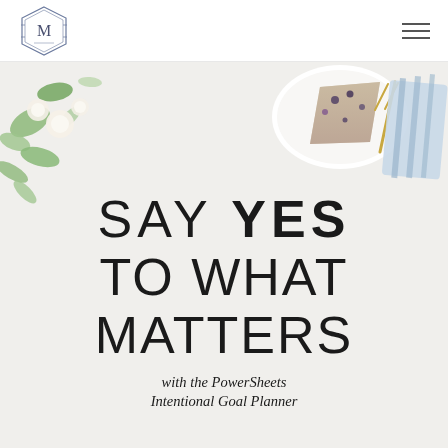M (logo) — navigation header with hamburger menu
[Figure (photo): Lifestyle flat-lay photo showing flowers/greenery in top-left, a plate with cake slice and gold fork on a blue striped napkin in top-right, on a white background. Over the photo: large text SAY YES TO WHAT MATTERS with the PowerSheets Intentional Goal Planner in italic beneath.]
SAY YES TO WHAT MATTERS
with the PowerSheets Intentional Goal Planner